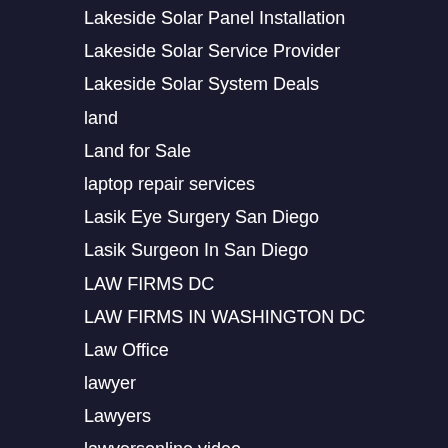Lakeside Solar Panel Installation
Lakeside Solar Service Provider
Lakeside Solar System Deals
land
Land for Sale
laptop repair services
Lasik Eye Surgery San Diego
Lasik Surgeon In San Diego
LAW FIRMS DC
LAW FIRMS IN WASHINGTON DC
Law Office
lawyer
Lawyers
lawyersonline video
leasing agencies
leasing companies
LIFE INSURANCE